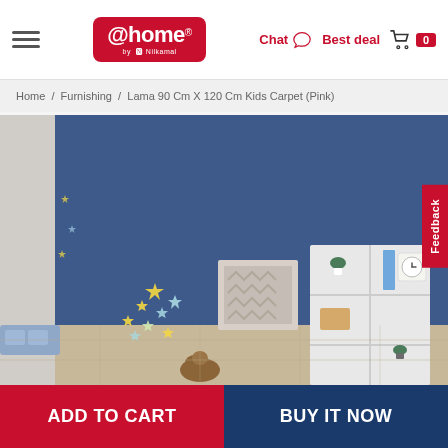@home by Nilkamal — Chat | Best deal | Cart 0
Home / Furnishing / Lama 90 Cm X 120 Cm Kids Carpet (Pink)
[Figure (photo): A blue-walled children's room with star wall decals, a white shelving unit with plants, a clock, and storage boxes, plus a chevron pattern frame on the wall.]
Feedback
ADD TO CART
BUY IT NOW